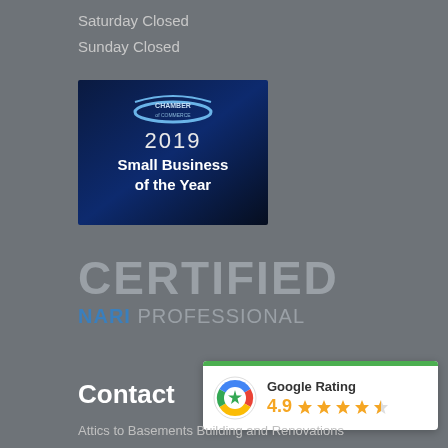Saturday Closed
Sunday Closed
[Figure (logo): Chamber of Commerce 2019 Small Business of the Year award badge on dark blue background]
CERTIFIED
NARI PROFESSIONAL
Contact
[Figure (infographic): Google Rating widget showing 4.9 stars with orange star icons and Google multicolor logo]
Attics to Basements Building and Renovations